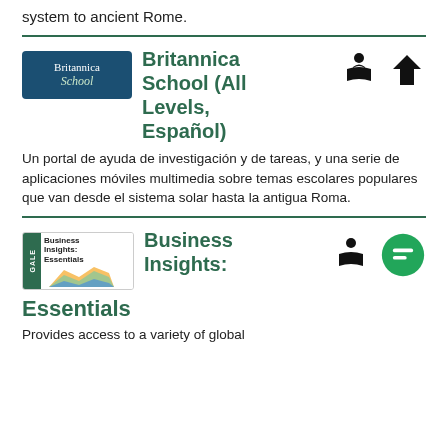system to ancient Rome.
[Figure (logo): Britannica School logo — dark blue rounded rectangle with white text]
Britannica School (All Levels, Español)
[Figure (illustration): Person reading book icon and house/home icon]
Un portal de ayuda de investigación y de tareas, y una serie de aplicaciones móviles multimedia sobre temas escolares populares que van desde el sistema solar hasta la antigua Roma.
[Figure (logo): Business Insights: Essentials logo — GALE branded with colorful chart graphic]
Business Insights: Essentials
[Figure (illustration): Person reading book icon and green chat bubble icon]
Provides access to a variety of global